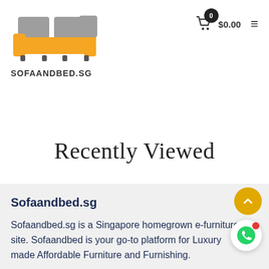[Figure (logo): Sofaandbed.sg logo — orange and grey sofa/furniture illustration above the text SOFAANDBED.SG]
$0.00
Recently Viewed
Sofaandbed.sg
Sofaandbed.sg is a Singapore homegrown e-furniture site. Sofaandbed is your go-to platform for Luxury made Affordable Furniture and Furnishing.